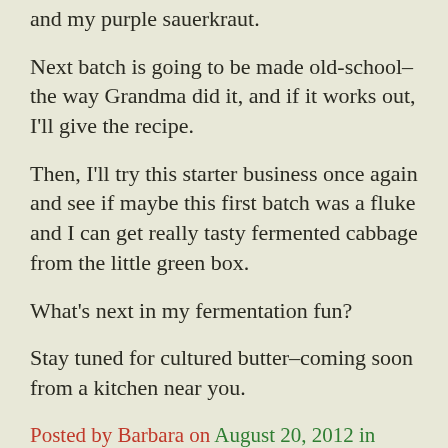and my purple sauerkraut.
Next batch is going to be made old-school–the way Grandma did it, and if it works out, I'll give the recipe.
Then, I'll try this starter business once again and see if maybe this first batch was a fluke and I can get really tasty fermented cabbage from the little green box.
What's next in my fermentation fun?
Stay tuned for cultured butter–coming soon from a kitchen near you.
Posted by Barbara on August 20, 2012 in Essays, Rants and Reflections, Food Preservation, Kitchen Science, On The Farm | 6 Comments